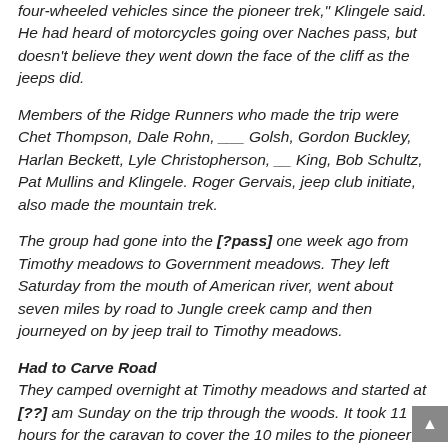four-wheeled vehicles since the pioneer trek," Klingele said. He had heard of motorcycles going over Naches pass, but doesn't believe they went down the face of the cliff as the jeeps did.
Members of the Ridge Runners who made the trip were Chet Thompson, Dale Rohn, ___ Golsh, Gordon Buckley, Harlan Beckett, Lyle Christopherson, __ King, Bob Schultz, Pat Mullins and Klingele. Roger Gervais, jeep club initiate, also made the mountain trek.
The group had gone into the [?pass] one week ago from Timothy meadows to Government meadows. They left Saturday from the mouth of American river, went about seven miles by road to Jungle creek camp and then journeyed on by jeep trail to Timothy meadows.
Had to Carve Road
They camped overnight at Timothy meadows and started at [??] am Sunday on the trip through the woods. It took 11 hours for the caravan to cover the 10 miles to the pioneer cliff. The drivers had to cut and clear a road using shovels and axes.
To reach the bottom of the cliff on the other side, the Ridge Runners hooked one jeep to a tree by a chain, and the man in